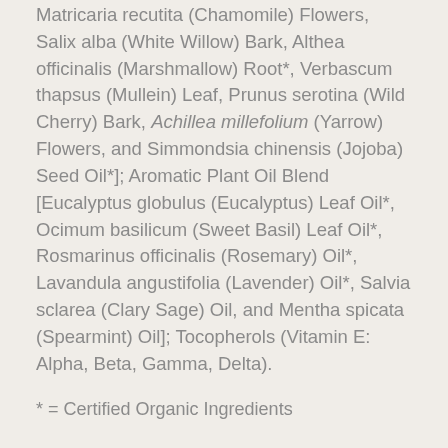Matricaria recutita (Chamomile) Flowers, Salix alba (White Willow) Bark, Althea officinalis (Marshmallow) Root*, Verbascum thapsus (Mullein) Leaf, Prunus serotina (Wild Cherry) Bark, Achillea millefolium (Yarrow) Flowers, and Simmondsia chinensis (Jojoba) Seed Oil*]; Aromatic Plant Oil Blend [Eucalyptus globulus (Eucalyptus) Leaf Oil*, Ocimum basilicum (Sweet Basil) Leaf Oil*, Rosmarinus officinalis (Rosemary) Oil*, Lavandula angustifolia (Lavender) Oil*, Salvia sclarea (Clary Sage) Oil, and Mentha spicata (Spearmint) Oil]; Tocopherols (Vitamin E: Alpha, Beta, Gamma, Delta).
* = Certified Organic Ingredients
Suggested Usage: